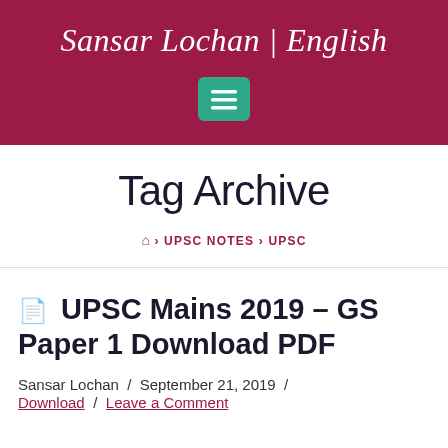Sansar Lochan | English
Tag Archive
Home > UPSC NOTES > UPSC
UPSC Mains 2019 – GS Paper 1 Download PDF
Sansar Lochan / September 21, 2019 / Download / Leave a Comment